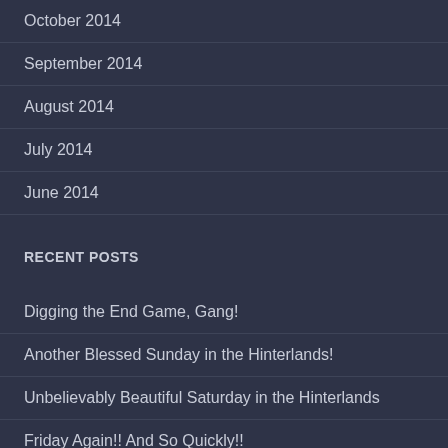October 2014
September 2014
August 2014
July 2014
June 2014
RECENT POSTS
Digging the End Game, Gang!
Another Blessed Sunday in the Hinterlands!
Unbelievably Beautiful Saturday in the Hinterlands
Friday Again!! And So Quickly!!
Information Overload?